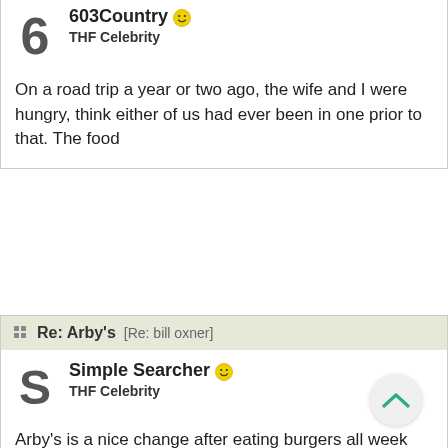603Country [smiley]
THF Celebrity
On a road trip a year or two ago, the wife and I were hungry, think either of us had ever been in one prior to that. The food
Re: Arby's [Re: bill oxner]
Simple Searcher [smiley]
THF Celebrity
Arby's is a nice change after eating burgers all week